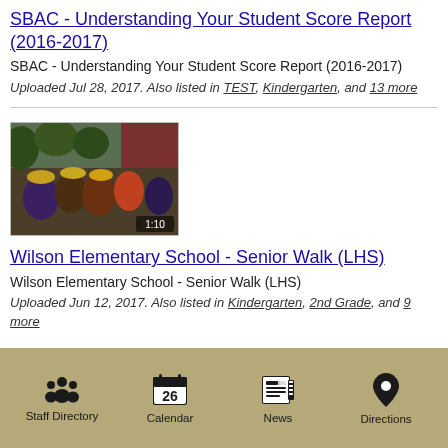SBAC - Understanding Your Student Score Report (2016-2017)
SBAC - Understanding Your Student Score Report (2016-2017)
Uploaded Jul 28, 2017. Also listed in TEST, Kindergarten, and 13 more
[Figure (photo): Video thumbnail showing students in graduation attire at Wilson Elementary School Senior Walk (LHS), duration 1:10]
Wilson Elementary School - Senior Walk (LHS)
Wilson Elementary School - Senior Walk (LHS)
Uploaded Jun 12, 2017. Also listed in Kindergarten, 2nd Grade, and 9 more
Staff Directory  Calendar  News  Directions